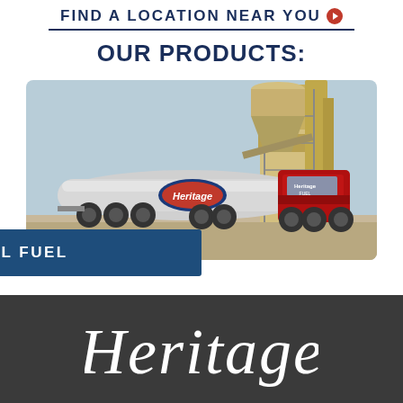FIND A LOCATION NEAR YOU
OUR PRODUCTS:
[Figure (photo): A Heritage branded fuel tanker truck (silver tank, red cab) parked in front of an industrial facility with large yellow silos/structures in the background.]
COMMERCIAL FUEL
Heritage